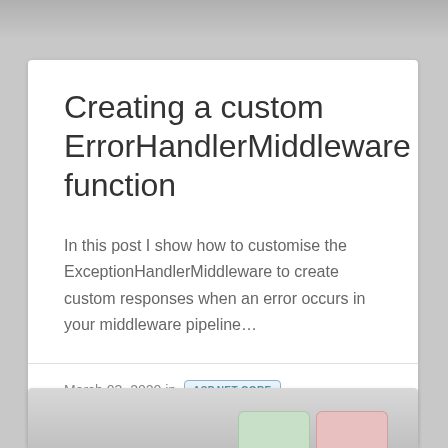Creating a custom ErrorHandlerMiddleware function
In this post I show how to customise the ExceptionHandlerMiddleware to create custom responses when an error occurs in your middleware pipeline…
March 03, 2020 in
ASP.NET CORE
ERROR HANDLING